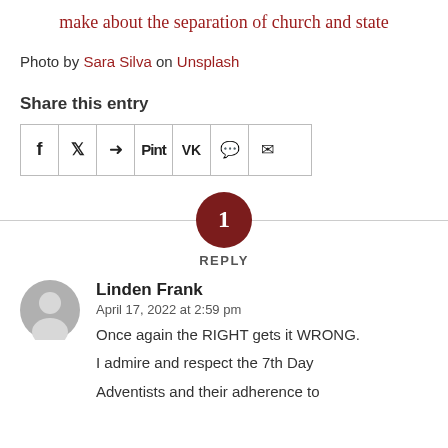make about the separation of church and state
Photo by Sara Silva on Unsplash
Share this entry
[Figure (other): Social share icons row: Facebook (f), Twitter, WhatsApp, Pinterest, Tumblr, VK, Reddit, Email]
[Figure (infographic): Dark red circle with number '1' and text 'REPLY' below, on a horizontal divider line]
Linden Frank
April 17, 2022 at 2:59 pm

Once again the RIGHT gets it WRONG.

I admire and respect the 7th Day

Adventists and their adherence to